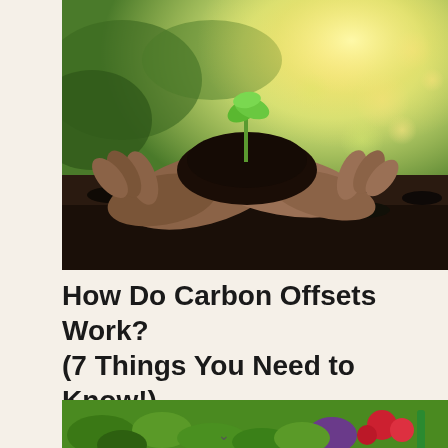[Figure (photo): Hands cupping dark soil with a small green seedling sprouting from it, against a blurred bokeh green and golden sunlight background]
How Do Carbon Offsets Work? (7 Things You Need to Know!)
[Figure (photo): Garden scene with green plants, red flowers, and colorful gardening tools on grass]